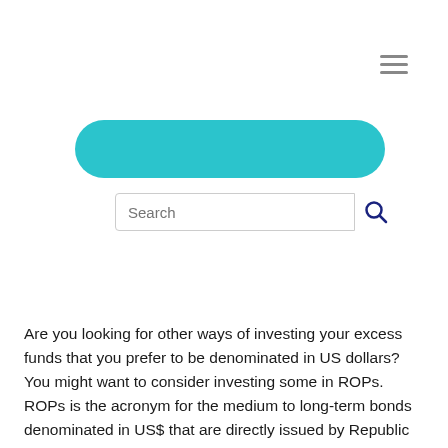[Figure (other): Teal/cyan rounded pill-shaped banner bar used as a decorative header element]
[Figure (other): Search input box with placeholder text 'Search' and a magnifying glass icon button to the right]
Are you looking for other ways of investing your excess funds that you prefer to be denominated in US dollars?  You might want to consider investing some in ROPs. ROPs is the acronym for the medium to long-term bonds denominated in US$ that are directly issued by Republic of the Philippines.